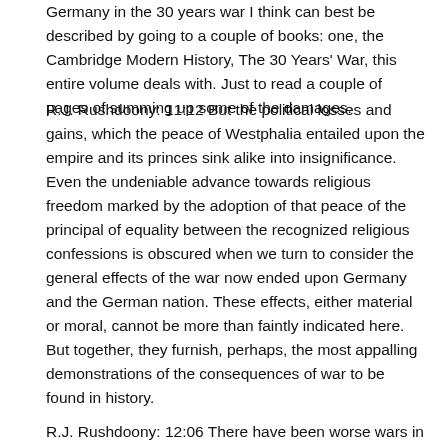Germany in the 30 years war I think can best be described by going to a couple of books: one, the Cambridge Modern History, The 30 Years' War, this entire volume deals with. Just to read a couple of pages of summing up some of the damages.
R.J. Rushdoony: 11:12 But the political losses and gains, which the peace of Westphalia entailed upon the empire and its princes sink alike into insignificance. Even the undeniable advance towards religious freedom marked by the adoption of that peace of the principal of equality between the recognized religious confessions is obscured when we turn to consider the general effects of the war now ended upon Germany and the German nation. These effects, either material or moral, cannot be more than faintly indicated here. But together, they furnish, perhaps, the most appalling demonstrations of the consequences of war to be found in history.
R.J. Rushdoony: 12:06 There have been worse wars in